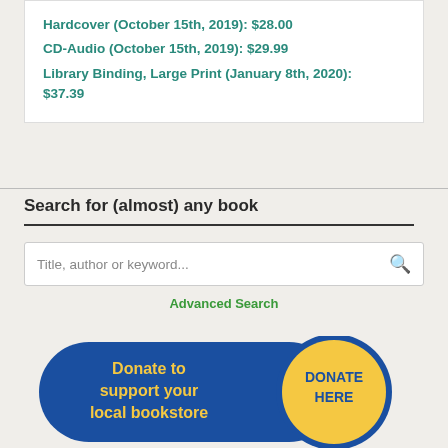Hardcover (October 15th, 2019): $28.00
CD-Audio (October 15th, 2019): $29.99
Library Binding, Large Print (January 8th, 2020): $37.39
Search for (almost) any book
Title, author or keyword...
Advanced Search
[Figure (infographic): Donate to support your local bookstore — DONATE HERE button with blue pill shape and yellow circle]